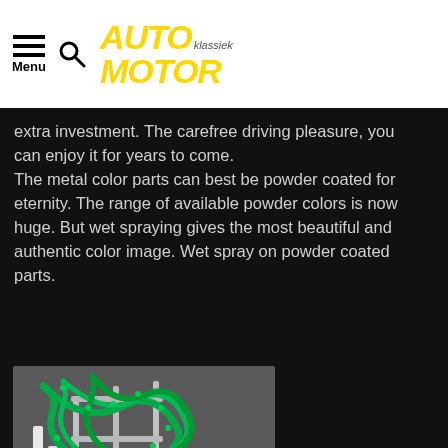AUTO MOTOR klassiek — Menu
extra investment. The carefree driving pleasure, you can enjoy it for years to come. The metal color parts can best be powder coated for eternity. The range of available powder colors is now huge. But wet spraying gives the most beautiful and authentic color image. Wet spray on powder coated parts.
[Figure (photo): Close-up photo of a motorcycle rear wheel and fender area with green bungee cords/nets draped over a chrome luggage rack, with a white-wall tire visible]